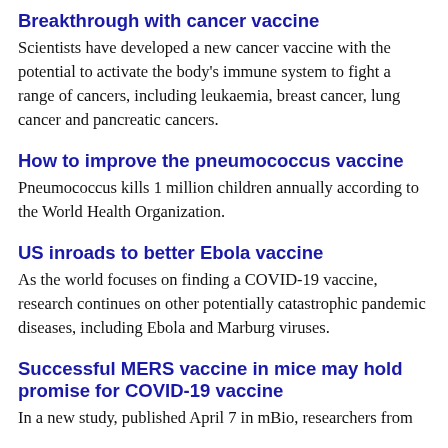Breakthrough with cancer vaccine
Scientists have developed a new cancer vaccine with the potential to activate the body's immune system to fight a range of cancers, including leukaemia, breast cancer, lung cancer and pancreatic cancers.
How to improve the pneumococcus vaccine
Pneumococcus kills 1 million children annually according to the World Health Organization.
US inroads to better Ebola vaccine
As the world focuses on finding a COVID-19 vaccine, research continues on other potentially catastrophic pandemic diseases, including Ebola and Marburg viruses.
Successful MERS vaccine in mice may hold promise for COVID-19 vaccine
In a new study, published April 7 in mBio, researchers from